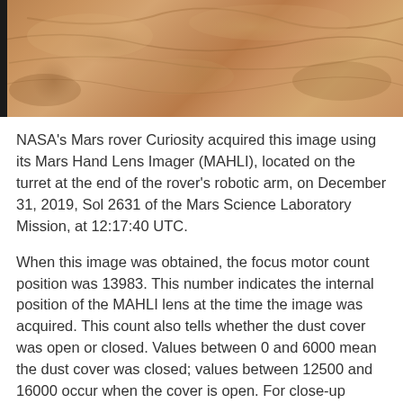[Figure (photo): Close-up photo of Martian rock surface taken by NASA's Curiosity rover MAHLI camera, showing reddish-brown rocky terrain with texture and striations.]
NASA's Mars rover Curiosity acquired this image using its Mars Hand Lens Imager (MAHLI), located on the turret at the end of the rover's robotic arm, on December 31, 2019, Sol 2631 of the Mars Science Laboratory Mission, at 12:17:40 UTC.
When this image was obtained, the focus motor count position was 13983. This number indicates the internal position of the MAHLI lens at the time the image was acquired. This count also tells whether the dust cover was open or closed. Values between 0 and 6000 mean the dust cover was closed; values between 12500 and 16000 occur when the cover is open. For close-up images, the motor count can in some cases be used to estimate the distance between the MAHLI lens and target. For example, in-focus images obtained with the dust cover open for which the lens